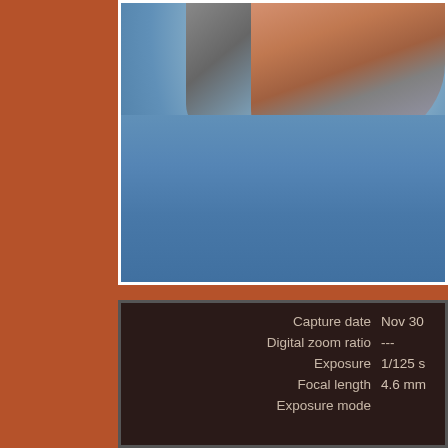[Figure (photo): Close-up photo of a person's arm/hand near blue gravel or granular material, viewed from above at close range.]
| Property | Value |
| --- | --- |
| Capture date | Nov 30 |
| Digital zoom ratio | --- |
| Exposure | 1/125 s |
| Focal length | 4.6 mm |
| Exposure mode | (cut off) |